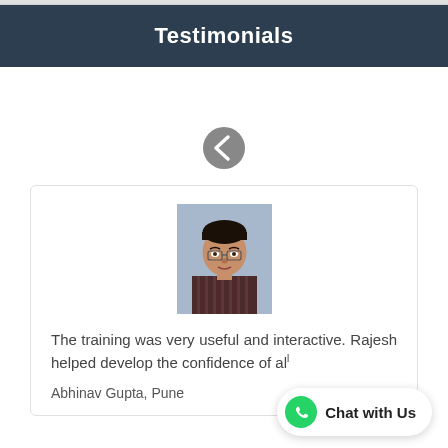Testimonials
[Figure (illustration): Left navigation back arrow (chevron left) circle button in grey]
[Figure (photo): Headshot photo of Abhinav Gupta, a young man wearing a striped shirt, against a blue background]
The training was very useful and interactive. Rajesh helped develop the confidence of all
Abhinav Gupta, Pune
[Figure (infographic): WhatsApp Chat with Us floating widget button]